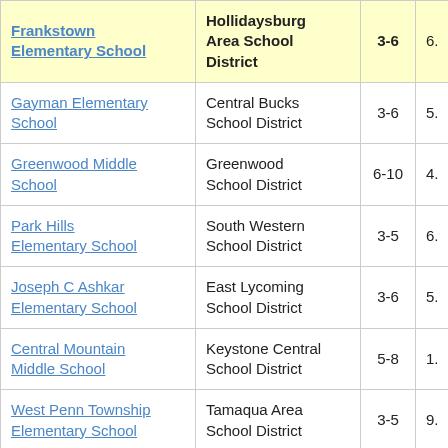| School | District | Grades |  |
| --- | --- | --- | --- |
| Frankstown Elementary School | Hollidaysburg Area School District | 3-6 | 6. |
| Gayman Elementary School | Central Bucks School District | 3-6 | 5. |
| Greenwood Middle School | Greenwood School District | 6-10 | 4. |
| Park Hills Elementary School | South Western School District | 3-5 | 6. |
| Joseph C Ashkar Elementary School | East Lycoming School District | 3-6 | 5. |
| Central Mountain Middle School | Keystone Central School District | 5-8 | 1. |
| West Penn Township Elementary School | Tamaqua Area School District | 3-5 | 9. |
| Indian Valley Intermediate School | Mifflin County School District | 4-5 | 6. |